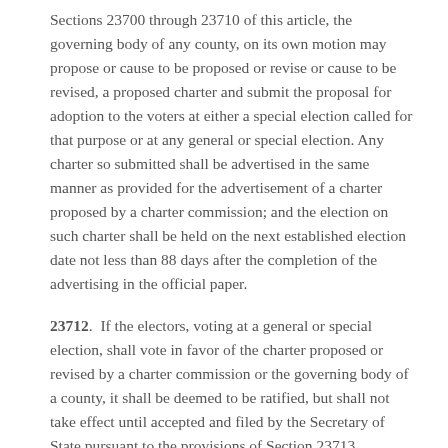Sections 23700 through 23710 of this article, the governing body of any county, on its own motion may propose or cause to be proposed or revise or cause to be revised, a proposed charter and submit the proposal for adoption to the voters at either a special election called for that purpose or at any general or special election. Any charter so submitted shall be advertised in the same manner as provided for the advertisement of a charter proposed by a charter commission; and the election on such charter shall be held on the next established election date not less than 88 days after the completion of the advertising in the official paper.
23712.  If the electors, voting at a general or special election, shall vote in favor of the charter proposed or revised by a charter commission or the governing body of a county, it shall be deemed to be ratified, but shall not take effect until accepted and filed by the Secretary of State pursuant to the provisions of Section 23713.